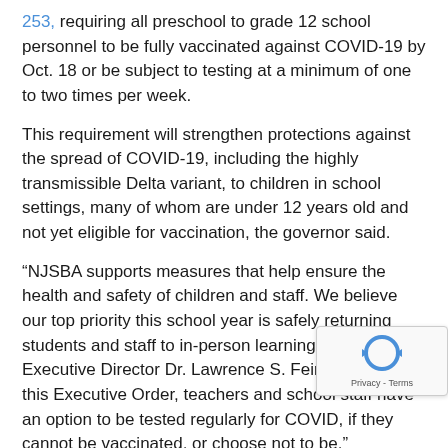253, requiring all preschool to grade 12 school personnel to be fully vaccinated against COVID-19 by Oct. 18 or be subject to testing at a minimum of one to two times per week.
This requirement will strengthen protections against the spread of COVID-19, including the highly transmissible Delta variant, to children in school settings, many of whom are under 12 years old and not yet eligible for vaccination, the governor said.
“NJSBA supports measures that help ensure the health and safety of children and staff. We believe our top priority this school year is safely returning students and staff to in-person learning,” said NJSBA Executive Director Dr. Lawrence S. Feinsod. “Under this Executive Order, teachers and school staff have an option to be tested regularly for COVID, if they cannot be vaccinated, or choose not to be.”
In his remarks, Gov. Murphy referenced options for districts, including funding sources and a free New Jersey Department of Health testing program that will soon be implemented for interested districts. NJSBA looks forward to hearing more about these plans.